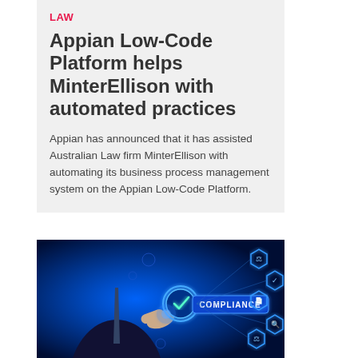LAW
Appian Low-Code Platform helps MinterEllison with automated practices
Appian has announced that it has assisted Australian Law firm MinterEllison with automating its business process management system on the Appian Low-Code Platform.
[Figure (photo): A person in a business suit touching a glowing blue digital compliance icon display with hexagonal technology icons and the word COMPLIANCE highlighted]